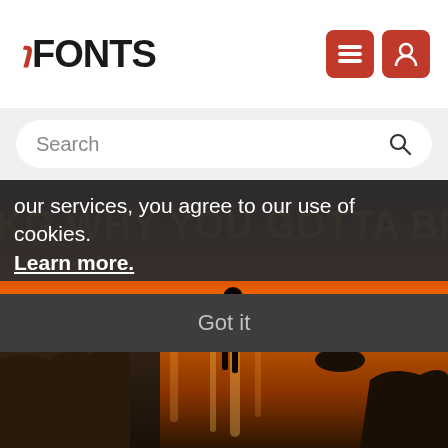FFONTS
Search
our services, you agree to our use of cookies. Learn more.
Got it
[Figure (photo): Hero image of a photographer silhouette against a vivid orange sunset by the sea, with rocky coastline. Overlay text reads: KG WHY YOU GOTTA BE SO MEAN in large orange bold letters.]